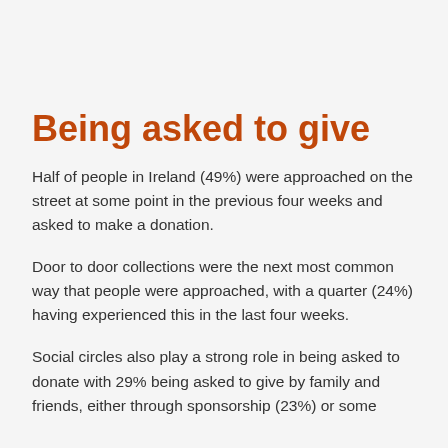Being asked to give
Half of people in Ireland (49%) were approached on the street at some point in the previous four weeks and asked to make a donation.
Door to door collections were the next most common way that people were approached, with a quarter (24%) having experienced this in the last four weeks.
Social circles also play a strong role in being asked to donate with 29% being asked to give by family and friends, either through sponsorship (23%) or some